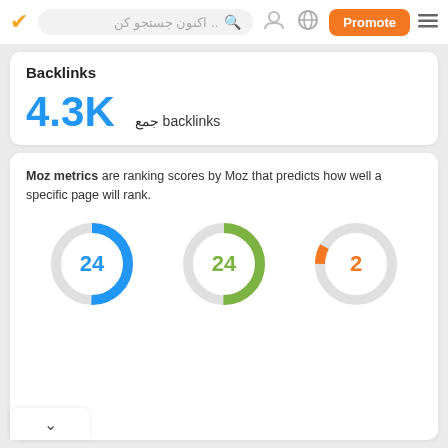اکنون جستجو کن .. | Promote
Backlinks
4.3K backlinks جمع
Moz metrics are ranking scores by Moz that predicts how well a specific page will rank.
[Figure (donut-chart): Moz metrics donuts]